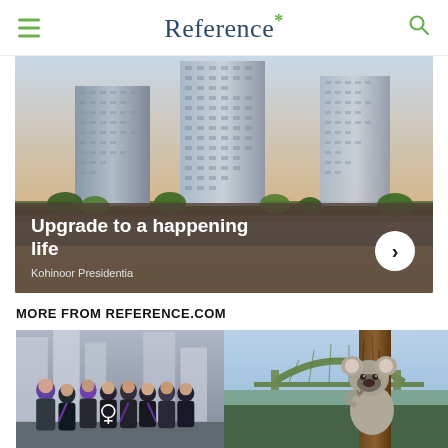Reference*
[Figure (photo): Advertisement banner showing tall modern residential towers (Kohinoor Presidentia) along a waterfront at dusk, with overlay text 'Upgrade to a happening life' and 'Kohinoor Presidentia']
MORE FROM REFERENCE.COM
[Figure (photo): Group of women with backs turned to camera, wearing purple accessories with a female symbol, standing in front of city buildings]
[Figure (photo): Koala bear clinging to a eucalyptus tree with the Sydney Harbour Bridge visible in background]